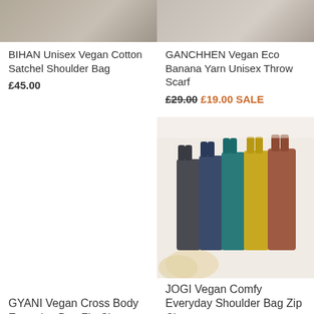[Figure (photo): Partial image of BIHAN Unisex Vegan Cotton Satchel Shoulder Bag (top cropped)]
BIHAN Unisex Vegan Cotton Satchel Shoulder Bag
£45.00
[Figure (photo): Partial image of GANCHHEN Vegan Eco Banana Yarn Unisex Throw Scarf (top cropped)]
GANCHHEN Vegan Eco Banana Yarn Unisex Throw Scarf
£29.00 £19.00 SALE
GYANI Vegan Cross Body Everyday Bag Zip Closure
[Figure (photo): Photo of multiple colorful vegan shoulder bags in navy, teal, yellow, and terracotta hanging together]
JOGI Vegan Comfy Everyday Shoulder Bag Zip Close